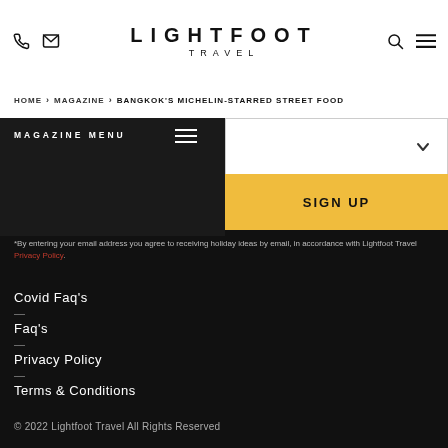LIGHTFOOT TRAVEL
HOME › MAGAZINE › BANGKOK'S MICHELIN-STARRED STREET FOOD
MAGAZINE MENU
SIGN UP
*By entering your email address you agree to receiving holiday ideas by email, in accordance with Lightfoot Travel Privacy Policy
Covid Faq's
Faq's
Privacy Policy
Terms & Conditions
© 2022 Lightfoot Travel All Rights Reserved